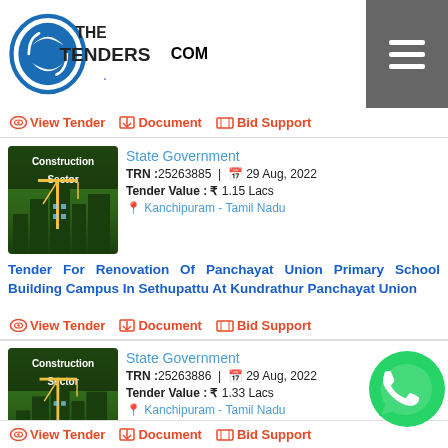[Figure (logo): TheTenders.com logo with circular arrow icon]
View Tender | Document | Bid Support
State Government
TRN: 25263885 | 29 Aug, 2022
Tender Value: ₹ 1.15 Lacs
Kanchipuram - Tamil Nadu
Tender For Renovation Of Panchayat Union Primary School Building Campus In Sethupattu At Kundrathur Panchayat Union
View Tender | Document | Bid Support
State Government
TRN: 25263886 | 29 Aug, 2022
Tender Value: ₹ 1.33 Lacs
Kanchipuram - Tamil Nadu
Tender For Renovation Of Panchayat Union School Building Campus In Varadarajapuram Kundrathur
View Tender | Document | Bid Support